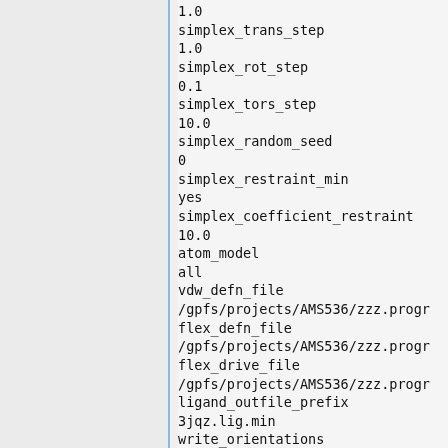1.0
simplex_trans_step
1.0
simplex_rot_step
0.1
simplex_tors_step
10.0
simplex_random_seed
0
simplex_restraint_min
yes
simplex_coefficient_restraint
10.0
atom_model
all
vdw_defn_file
/gpfs/projects/AMS536/zzz.progr
flex_defn_file
/gpfs/projects/AMS536/zzz.progr
flex_drive_file
/gpfs/projects/AMS536/zzz.progr
ligand_outfile_prefix
3jqz.lig.min
write_orientations
no